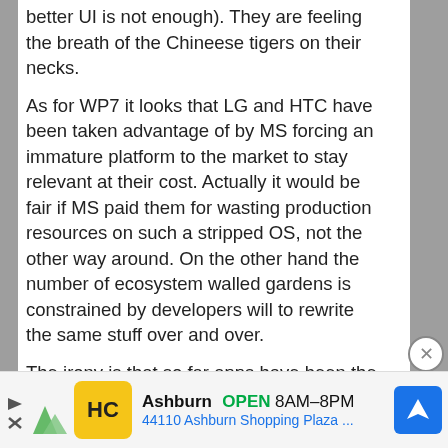better UI is not enough). They are feeling the breath of the Chineese tigers on their necks.
As for WP7 it looks that LG and HTC have been taken advantage of by MS forcing an immature platform to the market to stay relevant at their cost. Actually it would be fair if MS paid them for wasting production resources on such a stripped OS, not the other way around. On the other hand the number of ecosystem walled gardens is constrained by developers will to rewrite the same stuff over and over.
The irony is that so far apps have been the biggest honeypot but the real money are elsewhere.
[Figure (other): Advertisement banner for Ashburn location showing HC logo, open hours 8AM-8PM, address 44110 Ashburn Shopping Plaza, and navigation arrow icon]